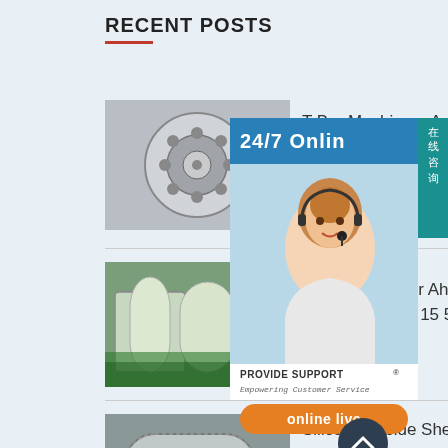RECENT POSTS
T Bar Machinery Automatic for False Ceiling T Grid Syst
[Figure (photo): Circular metal disc with holes, industrial machinery part]
Heat Exchanger Ah0608tl Package 44 22 15 5cm
[Figure (photo): Heat exchanger industrial equipment, large cylindrical vessels in a factory]
Silicon Carbide Shell and Tube Heat Exchanger
[Figure (photo): Silicon carbide shell and tube heat exchanger industrial equipment]
[Figure (screenshot): 24/7 Online support chat widget overlay with woman wearing headset, Provide Support Empowering Customer Service, online live button, Chinese text 在线咨询]